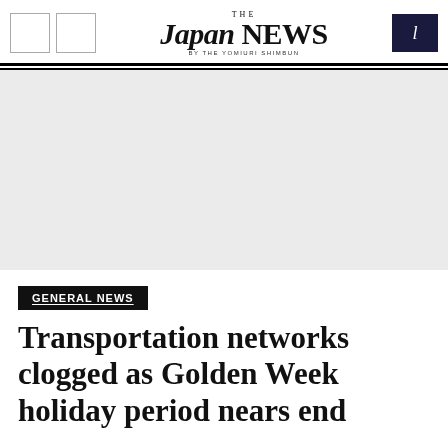THE JAPAN NEWS BY THE YOMIURI SHIMBUN
[Figure (other): Advertisement banner placeholder (light gray rectangle)]
GENERAL NEWS
Transportation networks clogged as Golden Week holiday period nears end